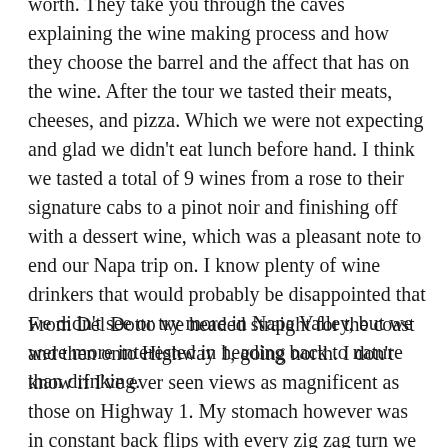worth. They take you through the caves explaining the wine making process and how they choose the barrel and the affect that has on the wine. After the tour we tasted their meats, cheeses, and pizza. Which we were not expecting and glad we didn't eat lunch before hand. I think we tasted a total of 9 wines from a rose to their signature cabs to a pinot noir and finishing off with a dessert wine, which was a pleasant note to end our Napa trip on. I know plenty of wine drinkers that would probably be disappointed that we didn't see or try more in Napa Valley, but we were more interested in heading back to nature than drinking.
From Del Dotto we headed straight for the coast and then onto Highway 1, going north. I don't know if I've ever seen views as magnificent as those on Highway 1. My stomach however was in constant back flips with every zig zag turn we made. The views were beautiful but the idea that you are so close to a cliff and could fall over into that view,